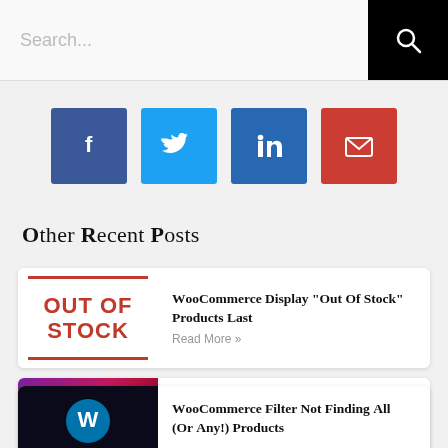[Figure (screenshot): Search bar with placeholder text 'Search...' and black search icon button on right]
[Figure (infographic): Row of four social media share buttons: Facebook (dark blue), Twitter (light blue), LinkedIn (blue), Email/envelope (red)]
Other Recent Posts
[Figure (screenshot): Post card 1: Out of Stock thumbnail (red text 'OUT OF STOCK' with red horizontal lines) and title 'WooCommerce Display "Out of Stock" Products Last' with 'Read More »' link]
[Figure (screenshot): Post card 2: WooSwipe purple/dark thumbnail with 'wipe' label and white bar, title 'Make WooSwipe Compatible with Elementor' with 'Read More »' link]
[Figure (screenshot): Post card 3 (partially visible): Dark thumbnail with WordPress logo, title 'WooCommerce Filter not Finding All (or Any!) Products']